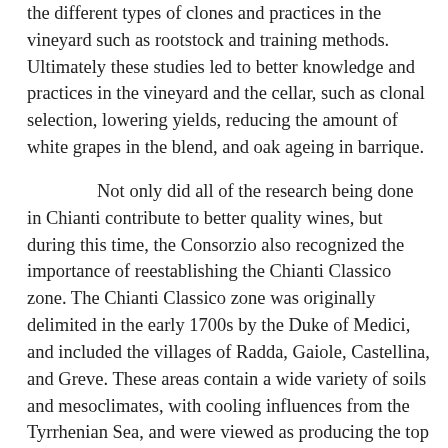the different types of clones and practices in the vineyard such as rootstock and training methods. Ultimately these studies led to better knowledge and practices in the vineyard and the cellar, such as clonal selection, lowering yields, reducing the amount of white grapes in the blend, and oak ageing in barrique.
Not only did all of the research being done in Chianti contribute to better quality wines, but during this time, the Consorzio also recognized the importance of reestablishing the Chianti Classico zone. The Chianti Classico zone was originally delimited in the early 1700s by the Duke of Medici, and included the villages of Radda, Gaiole, Castellina, and Greve. These areas contain a wide variety of soils and mesoclimates, with cooling influences from the Tyrrhenian Sea, and were viewed as producing the top quality wine. Yet in the 1930s, this region was expanded in efforts to capitalize on the name, though many of the wines produced did not match up to the name. Indeed, it was these very wines that